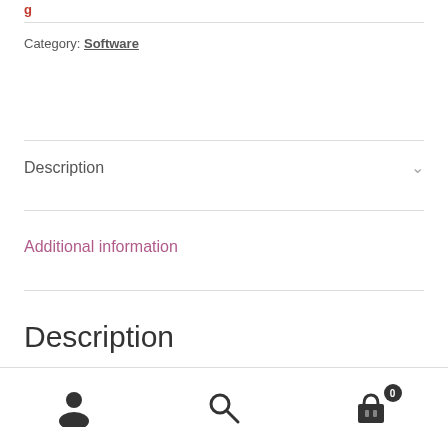Category: Software
Description
Additional information
Description
User icon | Search icon | Cart icon with badge 0